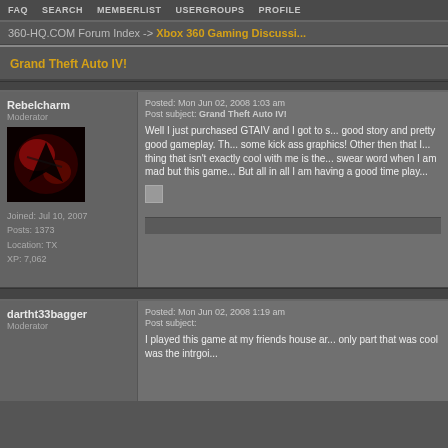FAQ  SEARCH  MEMBERLIST  USERGROUPS  PROFILE
360-HQ.COM Forum Index -> Xbox 360 Gaming Discussion
Grand Theft Auto IV!
Rebelcharm
Moderator
Joined: Jul 10, 2007
Posts: 1373
Location: TX
XP: 7,062
Posted: Mon Jun 02, 2008 1:03 am
Post subject: Grand Theft Auto IV!

Well I just purchased GTAIV and I got to s... good story and pretty good gameplay. Th... some kick ass graphics! Other then that I... thing that isn't exactly cool with me is the... swear word when I am mad but this game... But all in all I am having a good time play...
dartht33bagger
Moderator
Posted: Mon Jun 02, 2008 1:19 am
Post subject:

I played this game at my friends house ar... only part that was cool was the intrgoi...